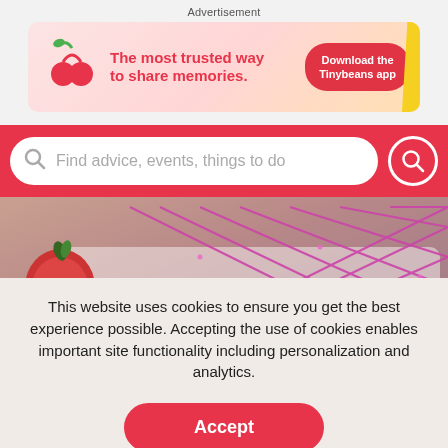Advertisement
[Figure (illustration): Tinybeans app advertisement banner: red cherries/sprout icon on left, bold text 'The most trusted way to share memories.' in red, orange rounded button 'Download the Tinybeans app' on right, pink/peach gradient background with yellow strip on far right edge.]
[Figure (screenshot): Red search bar strip with white rounded search input field showing placeholder text 'Find advice, events, things to do', magnifying glass icon on left inside field, and red circular search button with white magnifying glass icon on right.]
[Figure (photo): Close-up photo of red/orange cherry tomatoes and sparkling pink/magenta decorative netting or ribbon on a white plate/surface.]
This website uses cookies to ensure you get the best experience possible. Accepting the use of cookies enables important site functionality including personalization and analytics.
Accept
Decline